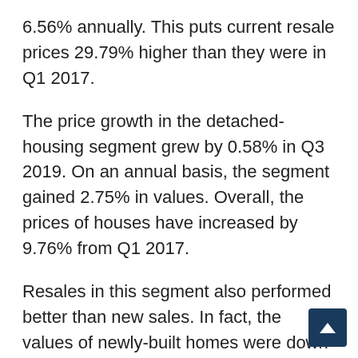6.56% annually. This puts current resale prices 29.79% higher than they were in Q1 2017.
The price growth in the detached-housing segment grew by 0.58% in Q3 2019. On an annual basis, the segment gained 2.75% in values. Overall, the prices of houses have increased by 9.76% from Q1 2017.
Resales in this segment also performed better than new sales. In fact, the values of newly-built homes were down by 1.16%, leaving prices up by a measly 0.29% from a year before.
On the other hand, resale prices were up 1.44% in Q3 2019 and up 3.93% from the same qua... 11.06%